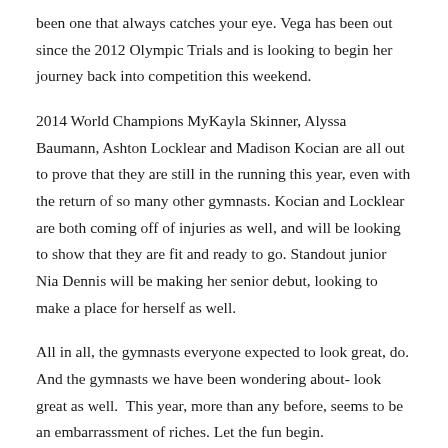been one that always catches your eye. Vega has been out since the 2012 Olympic Trials and is looking to begin her journey back into competition this weekend.
2014 World Champions MyKayla Skinner, Alyssa Baumann, Ashton Locklear and Madison Kocian are all out to prove that they are still in the running this year, even with the return of so many other gymnasts. Kocian and Locklear are both coming off of injuries as well, and will be looking to show that they are fit and ready to go. Standout junior Nia Dennis will be making her senior debut, looking to make a place for herself as well.
All in all, the gymnasts everyone expected to look great, do. And the gymnasts we have been wondering about- look great as well. This year, more than any before, seems to be an embarrassment of riches. Let the fun begin.